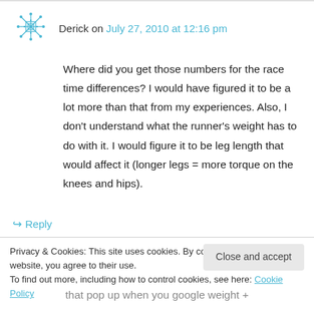Derick on July 27, 2010 at 12:16 pm
Where did you get those numbers for the race time differences? I would have figured it to be a lot more than that from my experiences. Also, I don't understand what the runner's weight has to do with it. I would figure it to be leg length that would affect it (longer legs = more torque on the knees and hips).
↳ Reply
Privacy & Cookies: This site uses cookies. By continuing to use this website, you agree to their use.
To find out more, including how to control cookies, see here: Cookie Policy
Close and accept
that pop up when you google weight +